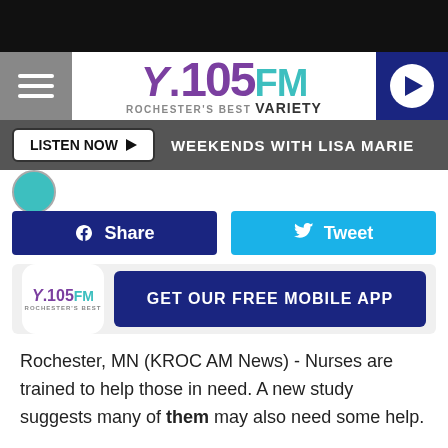[Figure (logo): Y105FM Rochester's Best Variety radio station logo with hamburger menu and play button]
LISTEN NOW ▶  WEEKENDS WITH LISA MARIE
[Figure (screenshot): Social share and tweet buttons, and Get Our Free Mobile App banner with Y105FM logo]
Rochester, MN (KROC AM News) - Nurses are trained to help those in need. A new study suggests many of them may also need some help.
The Mayo Clinic study that was released Friday shows nurses have suicidal thoughts more frequently than other US